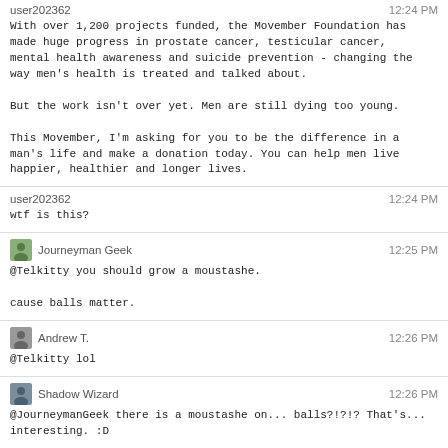user202362
12:24 PM
With over 1,200 projects funded, the Movember Foundation has made huge progress in prostate cancer, testicular cancer, mental health awareness and suicide prevention - changing the way men's health is treated and talked about.

But the work isn't over yet. Men are still dying too young.

This Movember, I'm asking for you to be the difference in a man's life and make a donation today. You can help men live happier, healthier and longer lives.
user202362
12:24 PM
wtf is this?
Journeyman Geek
12:25 PM
@Telkitty you should grow a moustashe.
cause balls matter.
Andrew T.
12:26 PM
@Telkitty lol
Shadow Wizard
12:26 PM
@JourneymanGeek there is a moustashe on... balls?!?!? That's... interesting. :D
Magisch
12:27 PM
@Telkitty sounds like the male equivalent to breast cancer awareness month
user202362
12:27 PM
moobs